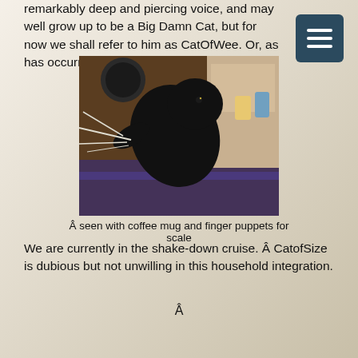remarkably deep and piercing voice, and may well grow up to be a Big Damn Cat, but for now we shall refer to him as CatOfWee. Or, as has occurred, “Lil’ Idjit.”
[Figure (photo): A black cat playing with a feathery toy, seen on a rug indoors with a coffee mug and finger puppets visible in the background.]
Â seen with coffee mug and finger puppets for scale
We are currently in the shake-down cruise. Â CatofSize is dubious but not unwilling in this household integration.
Â